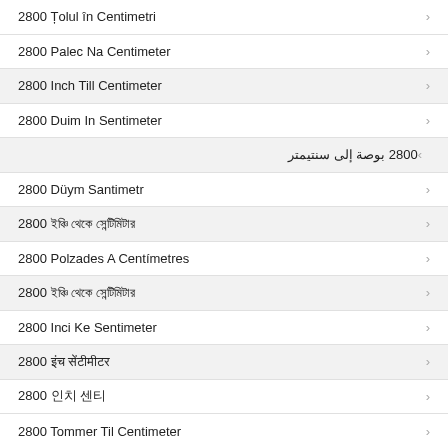2800 Țolul în Centimetri
2800 Palec Na Centimeter
2800 Inch Till Centimeter
2800 Duim In Sentimeter
2800 بوصة إلى سنتيمتر
2800 Düym Santimetr
2800 ইঞ্চি থেকে সেন্টিমিটার
2800 Polzades A Centímetres
2800 ইঞ্চি থেকে সেন্টিমিটার
2800 Inci Ke Sentimeter
2800 इंच सेंटीमीटर
2800 인치 센티
2800 Tommer Til Centimeter